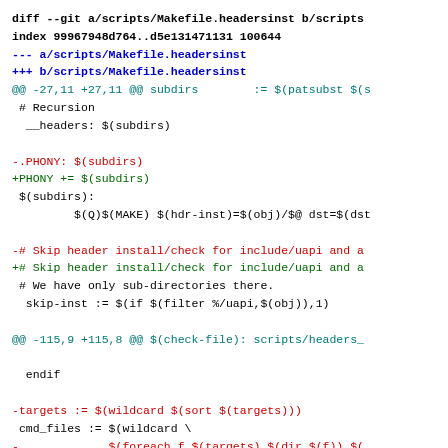diff --git a/scripts/Makefile.headersinst b/scripts/...
index 99967948d764..d5e131471131 100644
--- a/scripts/Makefile.headersinst
+++ b/scripts/Makefile.headersinst
@@ -27,11 +27,11 @@ subdirs        := $(patsubst $(s
 # Recursion
  __headers: $(subdirs)

-.PHONY: $(subdirs)
+PHONY += $(subdirs)
 $(subdirs):
         $(Q)$(MAKE) $(hdr-inst)=$(obj)/$@ dst=$(dst

-# Skip header install/check for include/uapi and a
+# Skip header install/check for include/uapi and a
 # We have only sub-directories there.
  skip-inst := $(if $(filter %/uapi,$(obj)),1)

@@ -115,9 +115,8 @@ $(check-file): scripts/headers_

  endif

-targets := $(wildcard $(sort $(targets)))
 cmd_files := $(wildcard \
-             $(foreach f,$(targets),$(dir $(f)).$(...